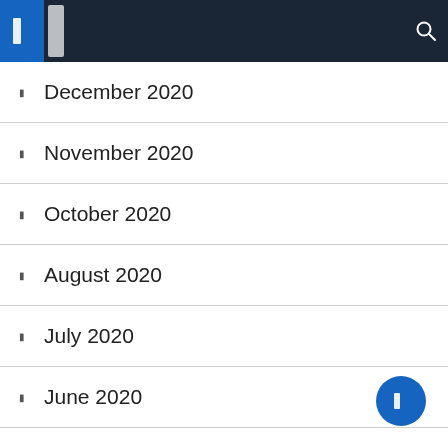Navigation bar with menu icons and search
December 2020
November 2020
October 2020
August 2020
July 2020
June 2020
April 2020
February 2020
January 2020
September 2019